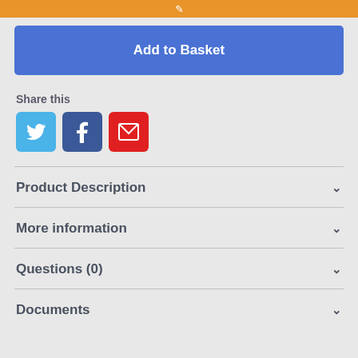[Figure (other): Orange bar at top of page (partial, cropped)]
Add to Basket
Share this
[Figure (other): Social sharing icons: Twitter (blue bird), Facebook (blue F), Email (red envelope)]
Product Description
More information
Questions (0)
Documents